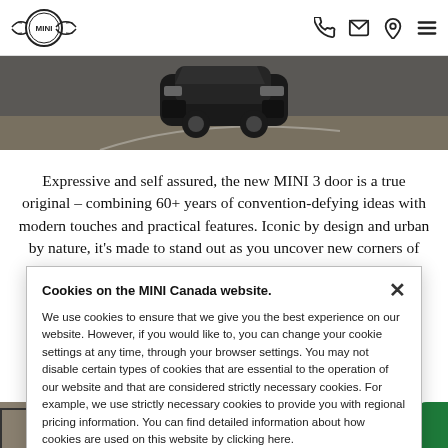MINI logo and navigation icons (phone, email, location, menu)
[Figure (photo): Dark MINI car viewed from front/rear on a road, hero banner image]
Expressive and self assured, the new MINI 3 door is a true original – combining 60+ years of convention-defying ideas with modern touches and practical features. Iconic by design and urban by nature, it's made to stand out as you uncover new corners of your city. An... to b... cy
Cookies on the MINI Canada website.

We use cookies to ensure that we give you the best experience on our website. However, if you would like to, you can change your cookie settings at any time, through your browser settings. You may not disable certain types of cookies that are essential to the operation of our website and that are considered strictly necessary cookies. For example, we use strictly necessary cookies to provide you with regional pricing information. You can find detailed information about how cookies are used on this website by clicking here.